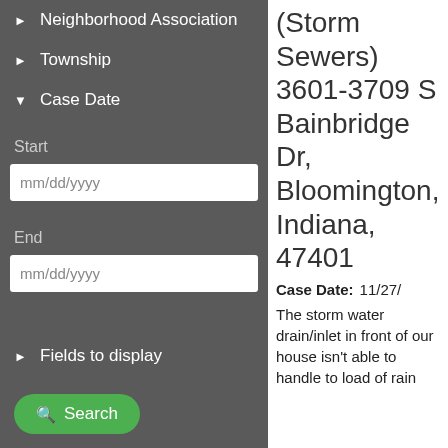▶  Neighborhood Association
▶  Township
▼  Case Date
Start
mm/dd/yyyy
End
mm/dd/yyyy
▶  Fields to display
Search
(Storm Sewers) 3601-3709 S Bainbridge Dr, Bloomington, Indiana, 47401
Case Date: 11/27/
The storm water drain/inlet in front of our house isn't able to handle to load of rain